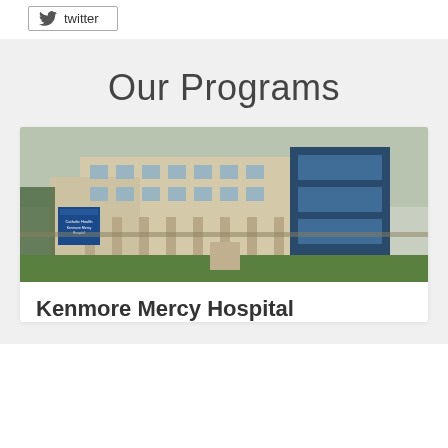[Figure (other): Twitter button with bird icon and 'twitter' label]
Our Programs
[Figure (photo): Exterior photo of Kenmore Mercy Hospital building, a multi-story tan brick building with glass windows and a blue hospital sign in front]
Kenmore Mercy Hospital